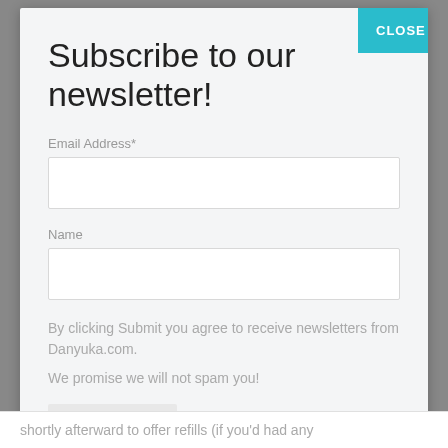Subscribe to our newsletter!
Email Address*
Name
By clicking Submit you agree to receive newsletters from Danyuka.com.
We promise we will not spam you!
Subscribe
shortly afterward to offer refills (if you'd had any